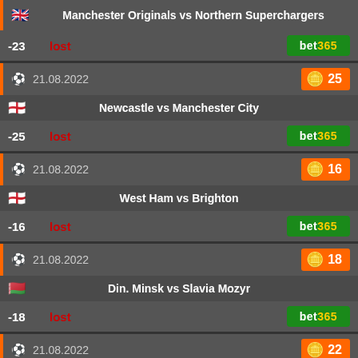Manchester Originals vs Northern Superchargers
-23 lost bet365
21.08.2022 25
Newcastle vs Manchester City
-25 lost bet365
21.08.2022 16
West Ham vs Brighton
-16 lost bet365
21.08.2022 18
Din. Minsk vs Slavia Mozyr
-18 lost bet365
21.08.2022 22